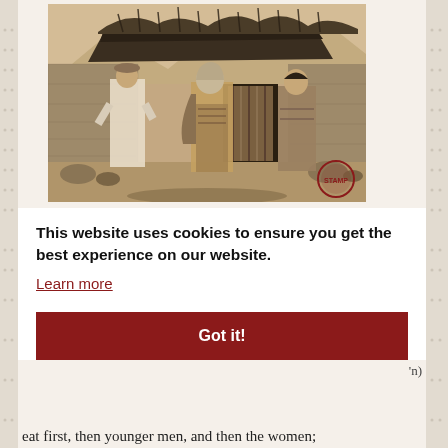[Figure (photo): Sepia-toned historical photograph of several people standing in front of a stone dwelling with a thatched/brush roof. A man in white clothing stands on the left, and two women in traditional dress stand in the center and right. Rocky terrain and hills visible in background. A round red stamp/seal is visible in the lower right corner of the photo.]
This website uses cookies to ensure you get the best experience on our website.
Learn more
Got it!
eat first, then younger men, and then the women;